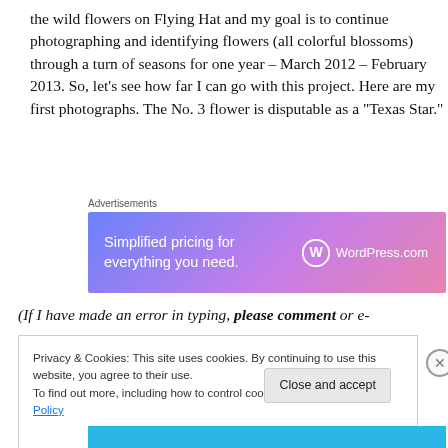the wild flowers on Flying Hat and my goal is to continue photographing and identifying flowers (all colorful blossoms) through a turn of seasons for one year – March 2012 – February 2013.  So, let's see how far I can go with this project.  Here are my first photographs.  The No. 3 flower is disputable as a “Texas Star.”
Advertisements
[Figure (other): WordPress.com advertisement banner: 'Simplified pricing for everything you need.' with WordPress.com logo on gradient blue-pink background]
(If I have made an error in typing, please comment or e-
Privacy & Cookies: This site uses cookies. By continuing to use this website, you agree to their use.
To find out more, including how to control cookies, see here: Cookie Policy
Close and accept